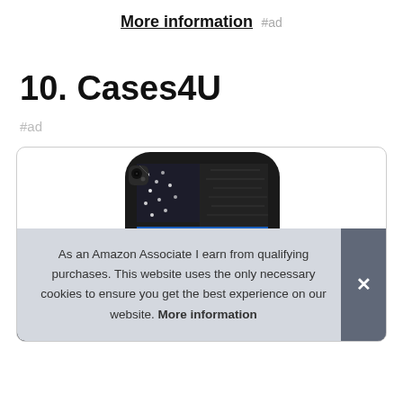More information #ad
10. Cases4U
#ad
[Figure (photo): Phone case product image showing a black iPhone case with an American flag design featuring a thin blue line motif, with stars and distressed styling]
As an Amazon Associate I earn from qualifying purchases. This website uses the only necessary cookies to ensure you get the best experience on our website. More information